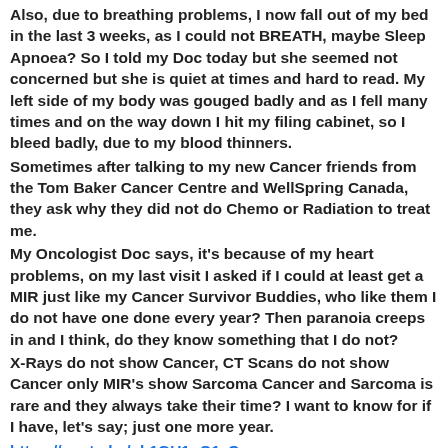Also, due to breathing problems, I now fall out of my bed in the last 3 weeks, as I could not BREATH, maybe Sleep Apnoea? So I told my Doc today but she seemed not concerned but she is quiet at times and hard to read. My left side of my body was gouged badly and as I fell many times and on the way down I hit my filing cabinet, so I bleed badly, due to my blood thinners.
Sometimes after talking to my new Cancer friends from the Tom Baker Cancer Centre and WellSpring Canada, they ask why they did not do Chemo or Radiation to treat me.
My Oncologist Doc says, it's because of my heart problems, on my last visit I asked if I could at least get a MIR just like my Cancer Survivor Buddies, who like them I do not have one done every year? Then paranoia creeps in and I think, do they know something that I do not?
X-Rays do not show Cancer, CT Scans do not show Cancer only MIR's show Sarcoma Cancer and Sarcoma is rare and they always take their time? I want to know for if I have, let's say; just one more year.
https://youtu.be/ph1GU1qQ1zQ